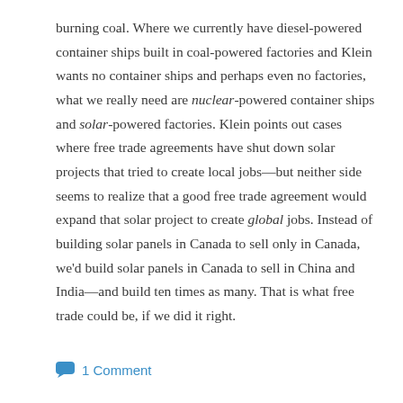burning coal. Where we currently have diesel-powered container ships built in coal-powered factories and Klein wants no container ships and perhaps even no factories, what we really need are nuclear-powered container ships and solar-powered factories. Klein points out cases where free trade agreements have shut down solar projects that tried to create local jobs—but neither side seems to realize that a good free trade agreement would expand that solar project to create global jobs. Instead of building solar panels in Canada to sell only in Canada, we'd build solar panels in Canada to sell in China and India—and build ten times as many. That is what free trade could be, if we did it right.
💬 1 Comment